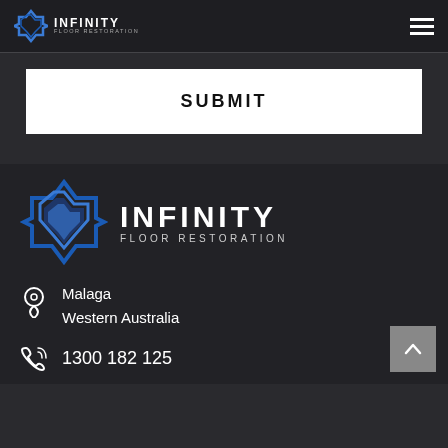[Figure (logo): Infinity Floor Restoration logo in header navigation bar with hamburger menu icon]
SUBMIT
[Figure (logo): Infinity Floor Restoration large footer logo with blue geometric icon]
Malaga
Western Australia
1300 182 125